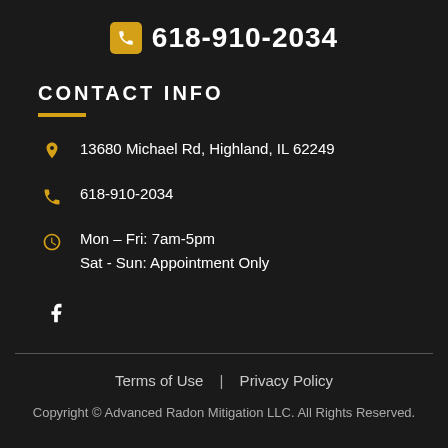618-910-2034
CONTACT INFO
13680 Michael Rd, Highland, IL 62249
618-910-2034
Mon – Fri: 7am-5pm
Sat - Sun: Appointment Only
f
Terms of Use | Privacy Policy
Copyright © Advanced Radon Mitigation LLC. All Rights Reserved.